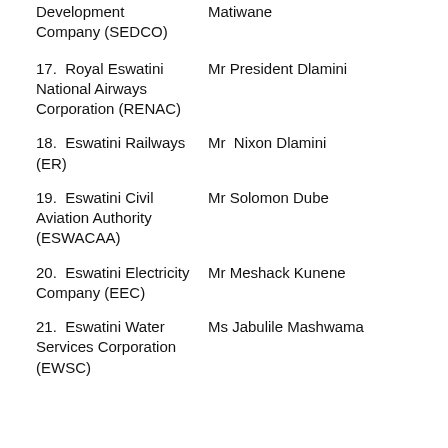Development Company (SEDCO) — Matiwane
17. Royal Eswatini National Airways Corporation (RENAC) — Mr President Dlamini
18. Eswatini Railways (ER) — Mr Nixon Dlamini
19. Eswatini Civil Aviation Authority (ESWACAA) — Mr Solomon Dube
20. Eswatini Electricity Company (EEC) — Mr Meshack Kunene
21. Eswatini Water Services Corporation (EWSC) — Ms Jabulile Mashwama